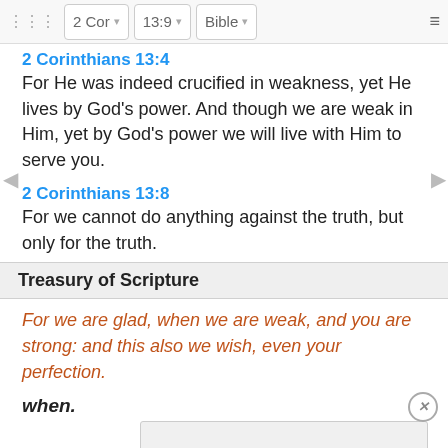2 Cor | 13:9 | Bible
2 Corinthians 13:4
For He was indeed crucified in weakness, yet He lives by God's power. And though we are weak in Him, yet by God's power we will live with Him to serve you.
2 Corinthians 13:8
For we cannot do anything against the truth, but only for the truth.
Treasury of Scripture
For we are glad, when we are weak, and you are strong: and this also we wish, even your perfection.
when.
2 Cor
For w... the